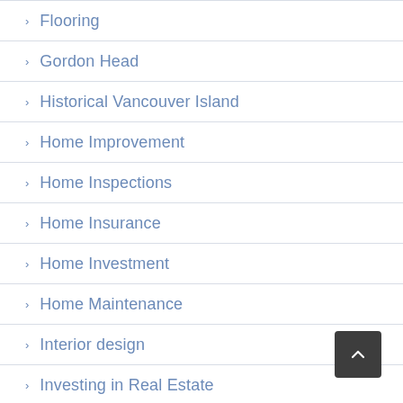Flooring
Gordon Head
Historical Vancouver Island
Home Improvement
Home Inspections
Home Insurance
Home Investment
Home Maintenance
Interior design
Investing in Real Estate